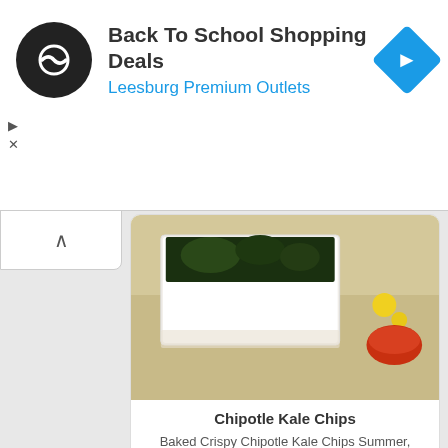[Figure (screenshot): Ad banner with black circular logo with infinity-like symbol, text 'Back To School Shopping Deals' and 'Leesburg Premium Outlets', blue diamond arrow icon on the right]
Back To School Shopping Deals
Leesburg Premium Outlets
[Figure (photo): Food photo showing chipotle kale chips - white rectangular serving dish with baked kale chips, flowers and red spices visible]
Chipotle Kale Chips
Baked Crispy Chipotle Kale Chips Summer, Summer, Summertime. Wow, it has been hot outside with no relief in si
Posted 9 years ago
ordinaryvegan.net
[Figure (photo): Food photo showing a bowl of soup with grains, tomatoes, black mushrooms/kale, herbs - hearty vegetable soup]